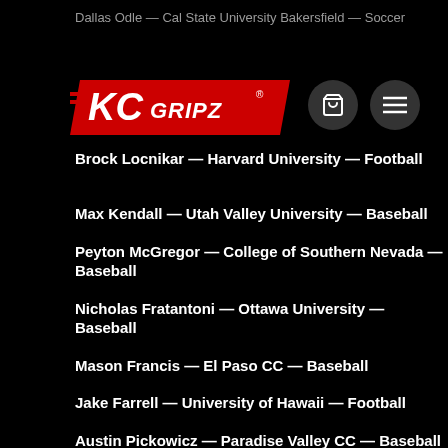Dallas Odle — Cal State University Bakersfield — Soccer
[Figure (logo): KC Gripz logo — red banner with white KC GRIPZ text and registered trademark symbol]
Brock Locnikar — Harvard University — Football
Max Kendall — Utah Valley University — Baseball
Peyton McGregor — College of Southern Nevada — Baseball
Nicholas Fratantoni — Ottawa University — Baseball
Mason Francis — El Paso CC — Baseball
Jake Farrell — University of Hawaii — Football
Austin Pickowicz — Paradise Valley CC — Baseball
Caden Hoffman — Concordia University @ St. Paul — Basketball